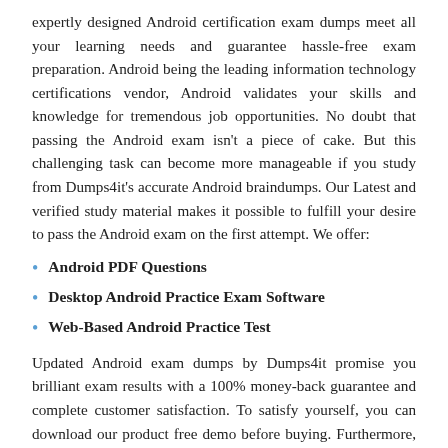expertly designed Android certification exam dumps meet all your learning needs and guarantee hassle-free exam preparation. Android being the leading information technology certifications vendor, Android validates your skills and knowledge for tremendous job opportunities. No doubt that passing the Android exam isn't a piece of cake. But this challenging task can become more manageable if you study from Dumps4it's accurate Android braindumps. Our Latest and verified study material makes it possible to fulfill your desire to pass the Android exam on the first attempt. We offer:
Android PDF Questions
Desktop Android Practice Exam Software
Web-Based Android Practice Test
Updated Android exam dumps by Dumps4it promise you brilliant exam results with a 100% money-back guarantee and complete customer satisfaction. To satisfy yourself, you can download our product free demo before buying. Furthermore, Android can tweak its exams content after your purchase. Therefore, Dumps4it offers up to 3 months of free Android